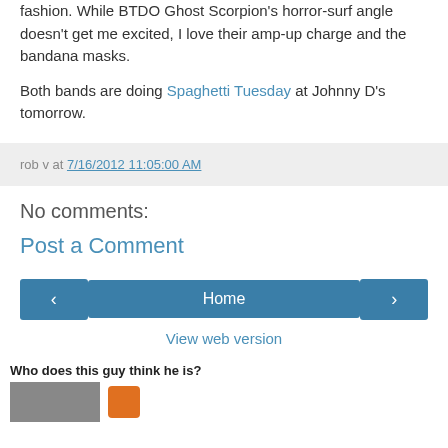fashion. While BTDO Ghost Scorpion's horror-surf angle doesn't get me excited, I love their amp-up charge and the bandana masks.
Both bands are doing Spaghetti Tuesday at Johnny D's tomorrow.
rob v at 7/16/2012 11:05:00 AM
No comments:
Post a Comment
‹  Home  ›
View web version
Who does this guy think he is?